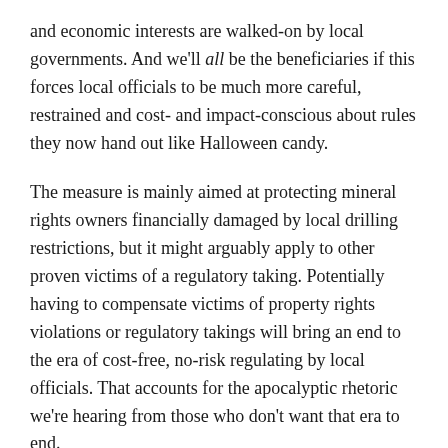and economic interests are walked-on by local governments. And we'll all be the beneficiaries if this forces local officials to be much more careful, restrained and cost- and impact-conscious about rules they now hand out like Halloween candy.
The measure is mainly aimed at protecting mineral rights owners financially damaged by local drilling restrictions, but it might arguably apply to other proven victims of a regulatory taking. Potentially having to compensate victims of property rights violations or regulatory takings will bring an end to the era of cost-free, no-risk regulating by local officials. That accounts for the apocalyptic rhetoric we're hearing from those who don't want that era to end.
They would much prefer having a free hand to blithely go on regulating as they always have, without considering the